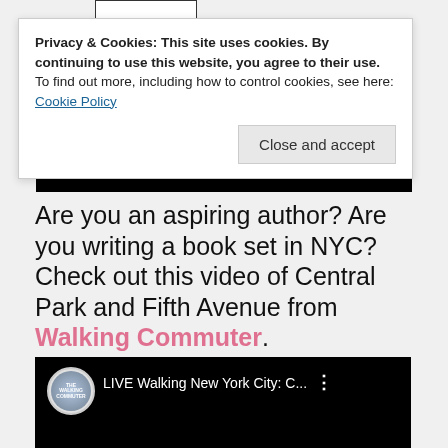[Figure (screenshot): Cookie consent banner overlay on a blog/website page. Banner reads: 'Privacy & Cookies: This site uses cookies. By continuing to use this website, you agree to their use. To find out more, including how to control cookies, see here: Cookie Policy' with a 'Close and accept' button.]
Are you an aspiring author? Are you writing a book set in NYC? Check out this video of Central Park and Fifth Avenue from Walking Commuter.
[Figure (screenshot): Video thumbnail for 'LIVE Walking New York City: C...' from Walking Commuter YouTube channel. Shows winter trees against grey sky. Google reCAPTCHA privacy badge visible in corner.]